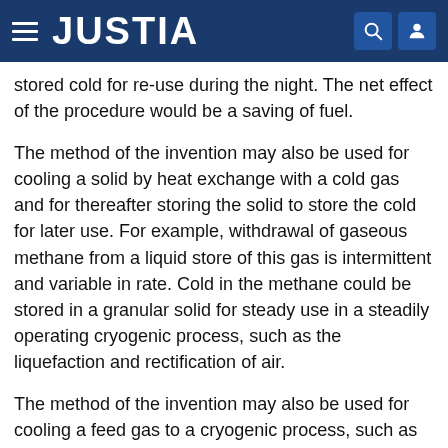JUSTIA
stored cold for re-use during the night. The net effect of the procedure would be a saving of fuel.
The method of the invention may also be used for cooling a solid by heat exchange with a cold gas and for thereafter storing the solid to store the cold for later use. For example, withdrawal of gaseous methane from a liquid store of this gas is intermittent and variable in rate. Cold in the methane could be stored in a granular solid for steady use in a steadily operating cryogenic process, such as the liquefaction and rectification of air.
The method of the invention may also be used for cooling a feed gas to a cryogenic process, such as air supplied to an air-separation installation, by heat exchange against a cold solid, that would subsequent to this heat exchange be used by the new method to heat the cold gas, and so on, alternately as conditions vary.